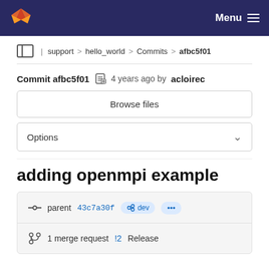GitLab navigation bar with Menu
support > hello_world > Commits > afbc5f01
Commit afbc5f01  4 years ago by acloirec
Browse files
Options
adding openmpi example
parent 43c7a30f  dev  ...
1 merge request !2 Release